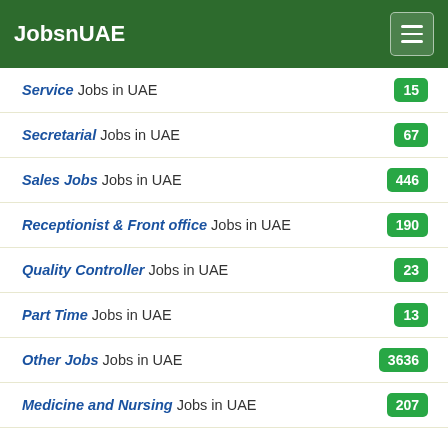JobsnUAE
Service Jobs in UAE — 15
Secretarial Jobs in UAE — 67
Sales Jobs Jobs in UAE — 446
Receptionist & Front office Jobs in UAE — 190
Quality Controller Jobs in UAE — 23
Part Time Jobs in UAE — 13
Other Jobs Jobs in UAE — 3636
Medicine and Nursing Jobs in UAE — 207